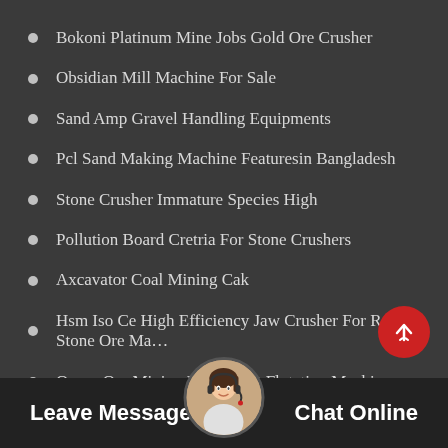Bokoni Platinum Mine Jobs Gold Ore Crusher
Obsidian Mill Machine For Sale
Sand Amp Gravel Handling Equipments
Pcl Sand Making Machine Featuresin Bangladesh
Stone Crusher Immature Species High
Pollution Board Cretria For Stone Crushers
Axcavator Coal Mining Cak
Hsm Iso Ce High Efficiency Jaw Crusher For Rock Stone Ore Ma…
Opper Ore Mining Equipment Flotation Machine
Mall Scale Gold Mining Equ…
Metal Metal Sand Making M…
Leave Message   Chat Online